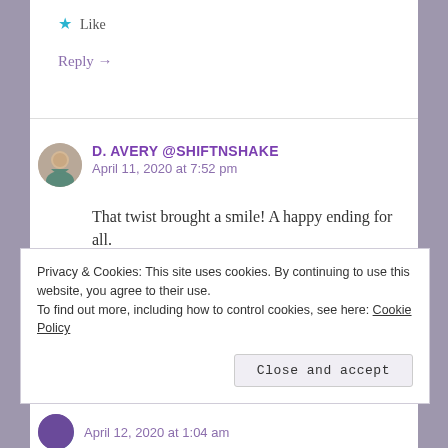Like
Reply →
D. AVERY @SHIFTNSHAKE
April 11, 2020 at 7:52 pm
That twist brought a smile! A happy ending for all.
Liked by 1 person
Privacy & Cookies: This site uses cookies. By continuing to use this website, you agree to their use. To find out more, including how to control cookies, see here: Cookie Policy
Close and accept
April 12, 2020 at 1:04 am